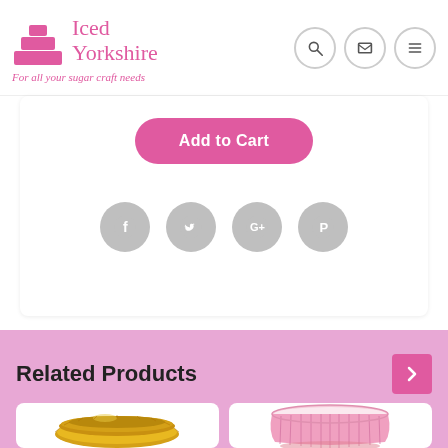[Figure (logo): Iced Yorkshire logo with pink tiered cake icon and text 'Iced Yorkshire' with tagline 'For all your sugar craft needs']
[Figure (screenshot): Add to Cart pink button]
[Figure (infographic): Social media share icons row: Facebook, Twitter, Google+, Pinterest — all grey circles]
Related Products
[Figure (photo): Gold foil cupcake case/tin viewed from above, circular with fluted edges]
[Figure (photo): Pink fluted cupcake/muffin tin viewed from above at slight angle]